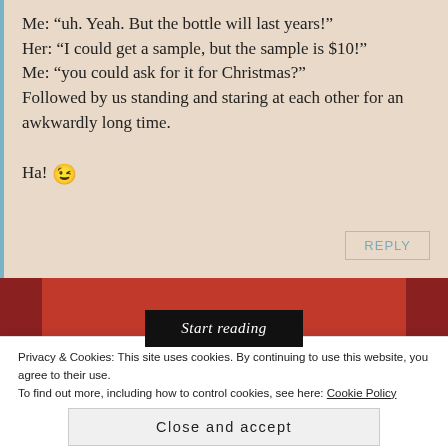Me: “uh. Yeah. But the bottle will last years!” Her: “I could get a sample, but the sample is $10!” Me: “you could ask for it for Christmas?” Followed by us standing and staring at each other for an awkwardly long time.

Ha! 😉
[Figure (screenshot): Red book advertisement or banner with dark side panels and a black 'Start reading' button in the center]
Privacy & Cookies: This site uses cookies. By continuing to use this website, you agree to their use. To find out more, including how to control cookies, see here: Cookie Policy
Close and accept